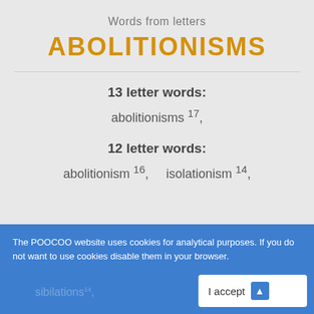Words from letters
ABOLITIONISMS
13 letter words:
abolitionisms 17,
12 letter words:
abolitionism 16, isolationism 14,
The POOCOO website uses cookies for analytical purposes. If you do not want to use cookies disable them in your browser.